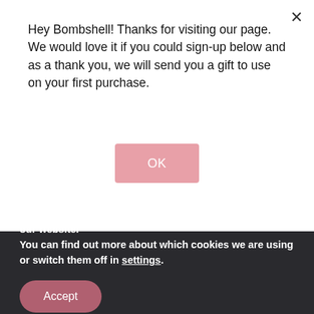Hey Bombshell! Thanks for visiting our page. We would love it if you could sign-up below and as a thank you, we will send you a gift to use on your first purchase.
OK
[Figure (photo): Pink/skin-toned background banner with black bar overlay reading 'GO EASY ON YOURSELF' and Bombshell logo script below]
We are using cookies to give you the best experience on our website.
You can find out more about which cookies we are using or switch them off in settings.
Accept